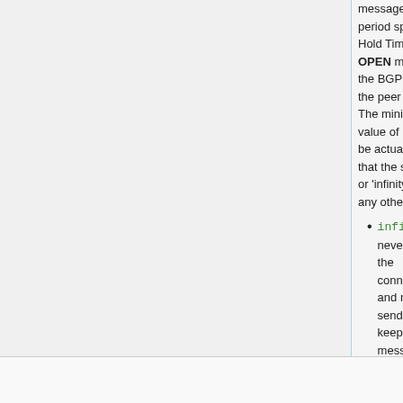messages with period specified Hold Time field OPEN message the BGP connection the peer will be The minimal value of both peers be actually used that the special or 'infinity' is lower any other value
infinity — never the connection and never send keepalive messages
in-filter (string;) name of the routing filter that is applied